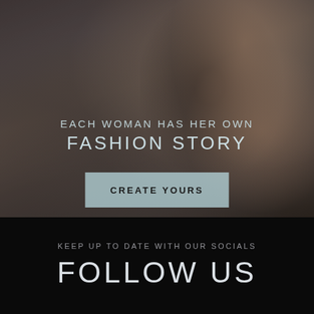[Figure (photo): Blurred background photo of a woman wearing a grey bikini top with dark straps, hair in a braid, posing outdoors near what appears to be a pool or bar area. The image is intentionally blurred/defocused.]
EACH WOMAN HAS HER OWN
FASHION STORY
CREATE YOURS
KEEP UP TO DATE WITH OUR SOCIALS
FOLLOW US